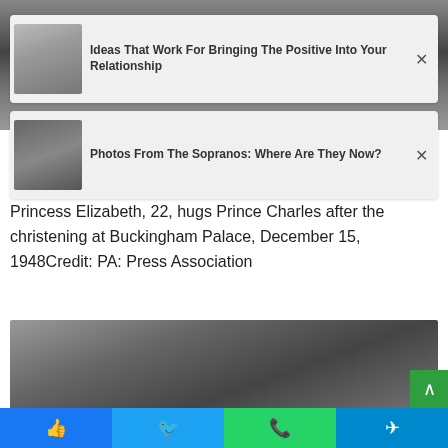[Figure (photo): Black and white photo strip at top of page, partially visible]
[Figure (infographic): Ad card with thumbnail: 'Ideas That Work For Bringing The Positive Into Your Relationship']
[Figure (infographic): Ad card with thumbnail: 'Photos From The Sopranos: Where Are They Now?']
Princess Elizabeth, 22, hugs Prince Charles after the christening at Buckingham Palace, December 15, 1948Credit: PA: Press Association
[Figure (photo): Black and white photograph of a young woman looking upward, surrounded by other people in an indoor setting]